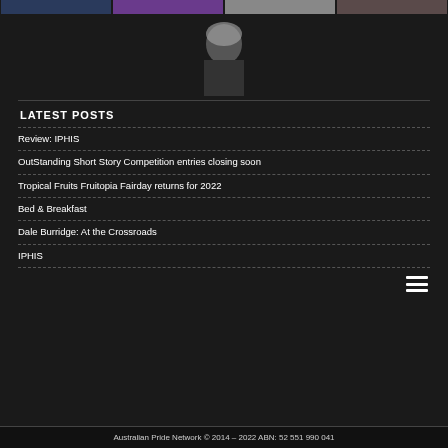[Figure (photo): Row of four thumbnail photos at the top of the page in a dark background]
[Figure (photo): Centered black and white photo of a performer with light hair]
LATEST POSTS
Review: IPHIS
OutStanding Short Story Competition entries closing soon
Tropical Fruits Fruitopia Fairday returns for 2022
Bed & Breakfast
Dale Burridge: At the Crossroads
IPHIS
Australian Pride Network © 2014 – 2022 ABN: 52 551 990 041